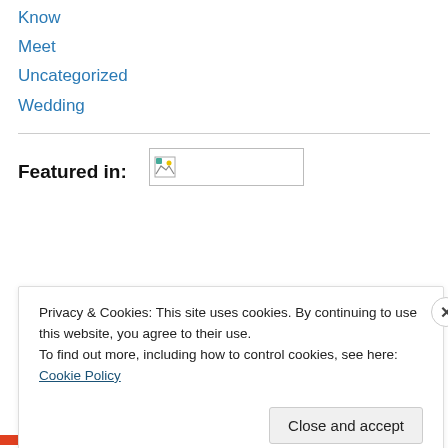Know
Meet
Uncategorized
Wedding
Featured in:
[Figure (other): Broken/loading image placeholder inside a bordered rectangle]
Privacy & Cookies: This site uses cookies. By continuing to use this website, you agree to their use.
To find out more, including how to control cookies, see here: Cookie Policy
Close and accept